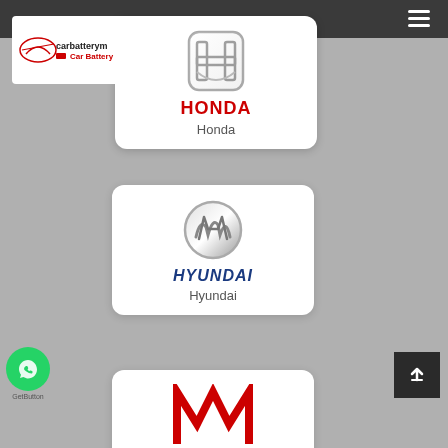[Figure (logo): carbattery website logo with car silhouette icon and text 'carbatterym' and 'Car Battery']
[Figure (logo): Honda logo – chrome H emblem with HONDA text in red and 'Honda' subtitle in gray]
[Figure (logo): Hyundai logo – chrome H emblem in circle with HYUNDAI text in navy italic and 'Hyundai' subtitle in gray]
[Figure (logo): Partial third brand card showing red M-shaped logo at bottom of page]